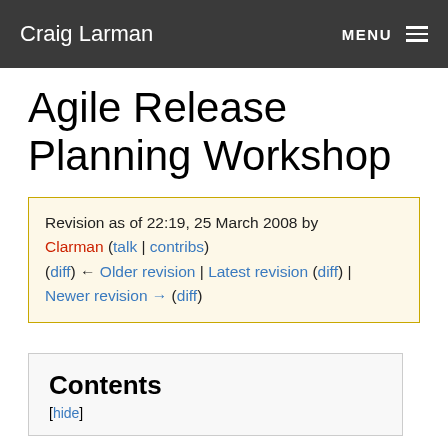Craig Larman  MENU
Agile Release Planning Workshop
Revision as of 22:19, 25 March 2008 by Clarman (talk | contribs)
(diff) ← Older revision | Latest revision (diff) | Newer revision → (diff)
Contents
[hide]